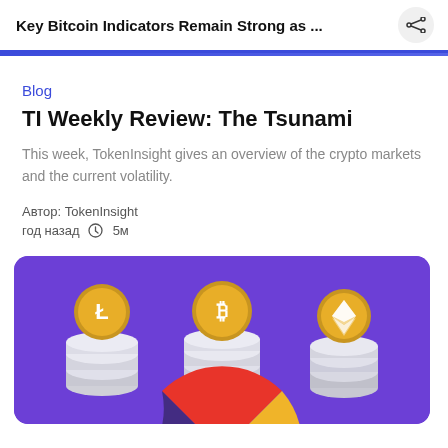Key Bitcoin Indicators Remain Strong as ...
Blog
TI Weekly Review: The Tsunami
This week, TokenInsight gives an overview of the crypto markets and the current volatility.
Автор: TokenInsight
год назад  ©  5м
[Figure (illustration): 3D illustration of three cryptocurrency coins (Litecoin, Bitcoin, Ethereum) stacked on layered platforms on a purple background with a pie chart partially visible at the bottom.]